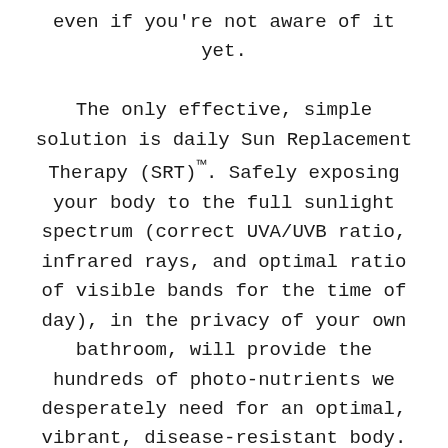even if you're not aware of it yet.

The only effective, simple solution is daily Sun Replacement Therapy (SRT)™. Safely exposing your body to the full sunlight spectrum (correct UVA/UVB ratio, infrared rays, and optimal ratio of visible bands for the time of day), in the privacy of your own bathroom, will provide the hundreds of photo-nutrients we desperately need for an optimal, vibrant, disease-resistant body.